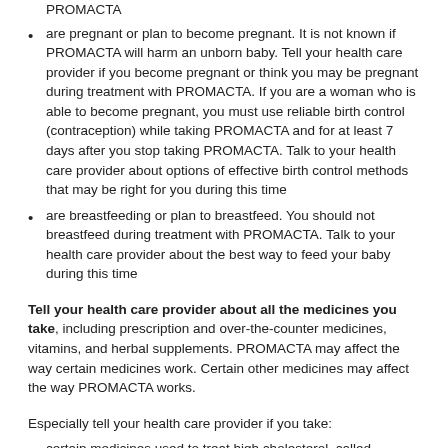PROMACTA
are pregnant or plan to become pregnant. It is not known if PROMACTA will harm an unborn baby. Tell your health care provider if you become pregnant or think you may be pregnant during treatment with PROMACTA. If you are a woman who is able to become pregnant, you must use reliable birth control (contraception) while taking PROMACTA and for at least 7 days after you stop taking PROMACTA. Talk to your health care provider about options of effective birth control methods that may be right for you during this time
are breastfeeding or plan to breastfeed. You should not breastfeed during treatment with PROMACTA. Talk to your health care provider about the best way to feed your baby during this time
Tell your health care provider about all the medicines you take, including prescription and over-the-counter medicines, vitamins, and herbal supplements. PROMACTA may affect the way certain medicines work. Certain other medicines may affect the way PROMACTA works.
Especially tell your health care provider if you take:
certain medicines used to treat high cholesterol, called